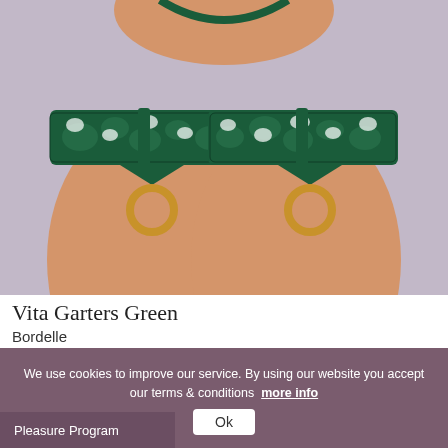[Figure (photo): Close-up photo of a model wearing green lace garters with gold ring hardware on both thighs, against a light purple-grey background.]
Vita Garters Green
Bordelle
$220
We use cookies to improve our service. By using our website you accept our terms & conditions more info
Ok
Pleasure Program